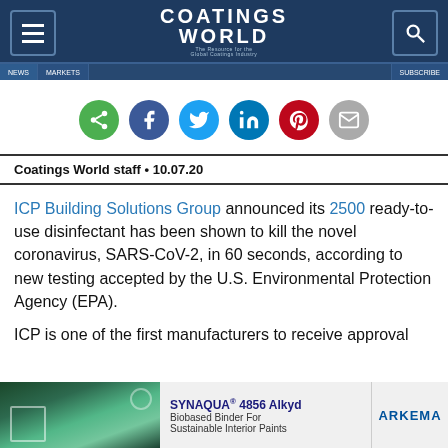Coatings World
[Figure (infographic): Social media sharing icons: share (green), Facebook (dark blue), Twitter (light blue), LinkedIn (blue), Pinterest (red), Email (gray)]
Coatings World staff • 10.07.20
ICP Building Solutions Group announced its 2500 ready-to-use disinfectant has been shown to kill the novel coronavirus, SARS-CoV-2, in 60 seconds, according to new testing accepted by the U.S. Environmental Protection Agency (EPA).
ICP is one of the first manufacturers to receive approval
[Figure (infographic): Advertisement banner for SYNAQUA 4856 Alkyd Biobased Binder For Sustainable Interior Paints by ARKEMA, with a nature/forest background photo]